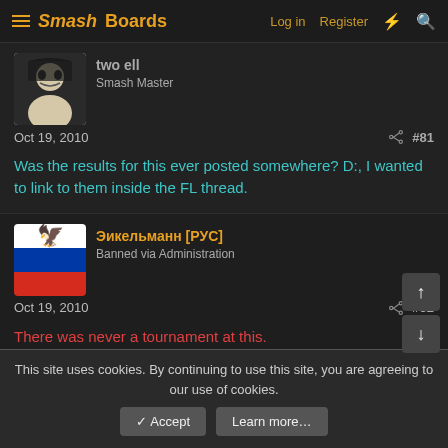SmashBoards — Log in  Register
[Figure (screenshot): Manga-style avatar of a dark-haired character in black and white]
Smash Master
Oct 19, 2010  #81
Was the results for this ever posted somewhere? D:, I wanted to link to them inside the FL thread.
[Figure (illustration): Russian flag avatar with gold double-headed eagle emblem]
Эикельманн [РУС]
Banned via Administration
Oct 19, 2010  #82
There was never a tournament at this.
[Figure (illustration): Teal square avatar with letter R]
Rohins
Smash Lord
This site uses cookies. By continuing to use this site, you are agreeing to our use of cookies.